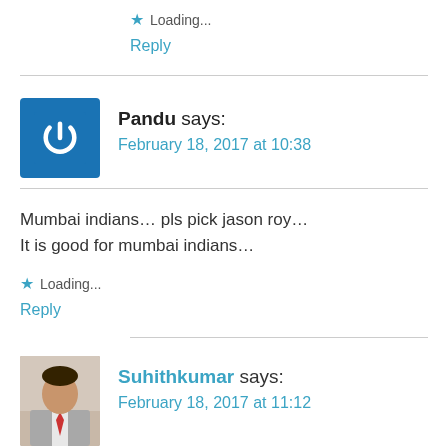★ Loading...
Reply
Pandu says: February 18, 2017 at 10:38
Mumbai indians… pls pick jason roy…
It is good for mumbai indians…
★ Loading...
Reply
Suhithkumar says: February 18, 2017 at 11:12